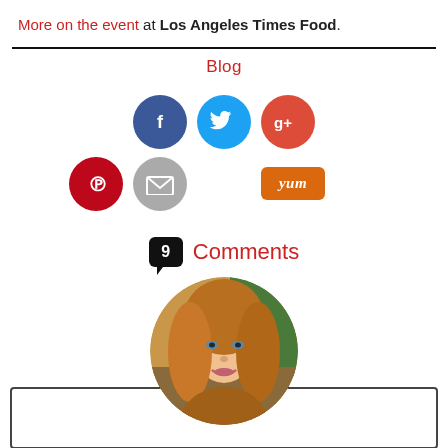More on the event at Los Angeles Times Food.
Blog
[Figure (infographic): Social media sharing buttons: Facebook (dark blue circle with f), Twitter (light blue circle with bird), Google+ (red circle with g+), Pinterest (red circle with P), Email (gray circle with envelope), Yum (orange rounded rectangle button)]
9 Comments
[Figure (photo): Circular avatar photo of a woman with curly auburn/golden hair, smiling, with a comment box border partially visible behind/below]